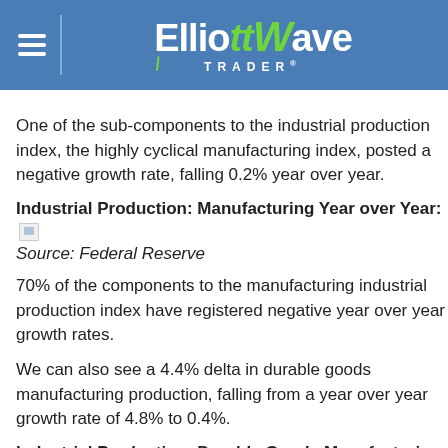Elliott Wave Trader
One of the sub-components to the industrial production index, the highly cyclical manufacturing index, posted a negative growth rate, falling 0.2% year over year.
Industrial Production: Manufacturing Year over Year:
Source: Federal Reserve
70% of the components to the manufacturing industrial production index have registered negative year over year growth rates.
We can also see a 4.4% delta in durable goods manufacturing production, falling from a year over year growth rate of 4.8% to 0.4%.
Industrial Production: Durable Goods Manufacturing Year